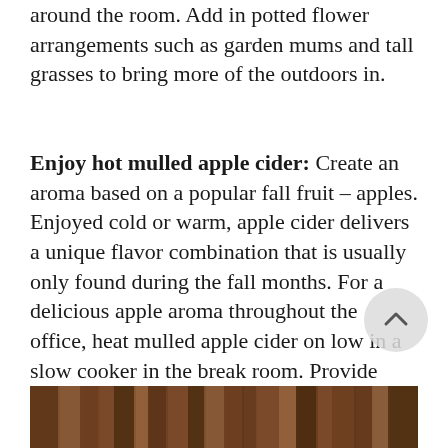around the room. Add in potted flower arrangements such as garden mums and tall grasses to bring more of the outdoors in.
Enjoy hot mulled apple cider: Create an aroma based on a popular fall fruit – apples. Enjoyed cold or warm, apple cider delivers a unique flavor combination that is usually only found during the fall months. For a delicious apple aroma throughout the office, heat mulled apple cider on low in a slow cooker in the break room. Provide cups that are meant for hot liquids and a variety of healthy fall snacks.
[Figure (photo): Bottom portion of a photo showing a wooden surface or fall-themed image, partially visible at the bottom of the page.]